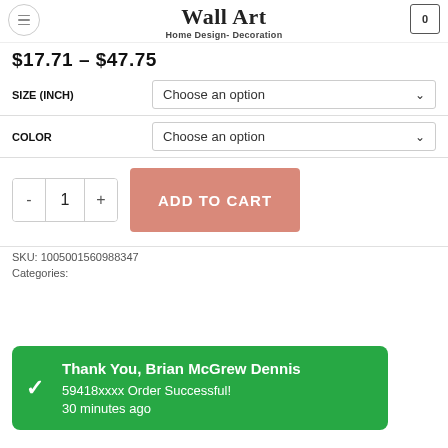Wall Art – Home Design- Decoration
$17.71 – $47.75
SIZE (INCH) – Choose an option
COLOR – Choose an option
- 1 + ADD TO CART
SKU: 1005001560988347
Thank You, Brian McGrew Dennis
59418xxxx Order Successful!
30 minutes ago